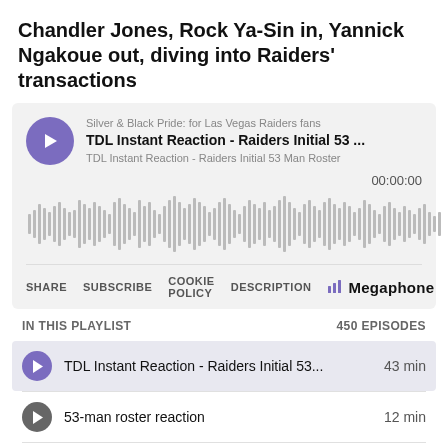Chandler Jones, Rock Ya-Sin in, Yannick Ngakoue out, diving into Raiders' transactions
[Figure (screenshot): Megaphone podcast player embedded widget showing 'TDL Instant Reaction - Raiders Initial 53 Man Roster' episode from Silver & Black Pride podcast, with waveform, 00:00:00 timestamp, and playlist of 450 episodes]
Silver & Black Pride: for Las Vegas Raiders fans
TDL Instant Reaction - Raiders Initial 53 ...
TDL Instant Reaction - Raiders Initial 53 Man Roster
00:00:00
SHARE   SUBSCRIBE   COOKIE POLICY   DESCRIPTION   Megaphone
IN THIS PLAYLIST   450 EPISODES
TDL Instant Reaction - Raiders Initial 53...   43 min
53-man roster reaction   12 min
Tape Don't Lie - Raiders 2022 Roster Pr...   57 min